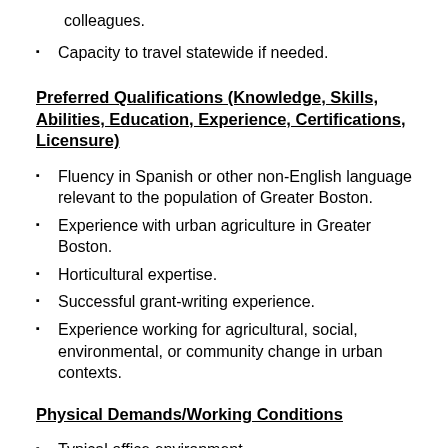colleagues.
Capacity to travel statewide if needed.
Preferred Qualifications (Knowledge, Skills, Abilities, Education, Experience, Certifications, Licensure)
Fluency in Spanish or other non-English language relevant to the population of Greater Boston.
Experience with urban agriculture in Greater Boston.
Horticultural expertise.
Successful grant-writing experience.
Experience working for agricultural, social, environmental, or community change in urban contexts.
Physical Demands/Working Conditions
Typical office environment.